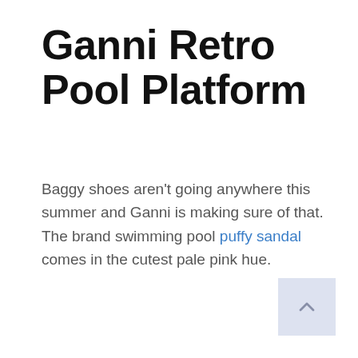Ganni Retro Pool Platform
Baggy shoes aren't going anywhere this summer and Ganni is making sure of that. The brand swimming pool puffy sandal comes in the cutest pale pink hue.